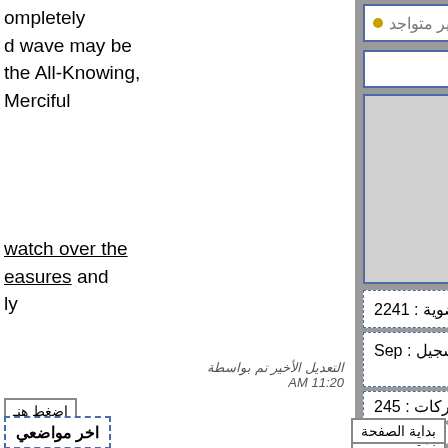ompletely
d wave may be
the All-Knowing,
Merciful
watch over the
easures and
y
selfsame • غير متواجد
المشرفين
[Figure (illustration): Default user avatar placeholder - gray silhouette on light gray background]
رقم العضوية : 2241
تاريخ التسجيل : Sep 2015
المشاركات : 245
التقييم: 10
التعديل الأخير تم بواسطة
AM 11:20
اضغط هنـ
اخر مواضعي
بداية الصفحة